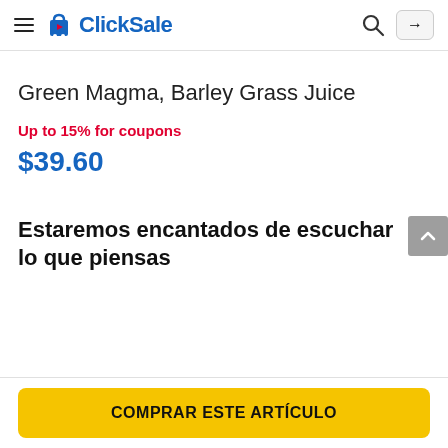ClickSale
Green Magma, Barley Grass Juice
Up to 15% for coupons
$39.60
Estaremos encantados de escuchar lo que piensas
COMPRAR ESTE ARTÍCULO